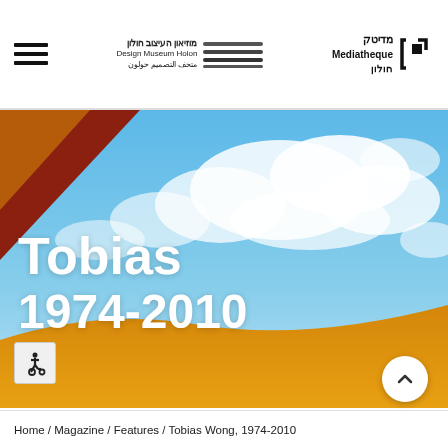Design Museum Holon / Mediatheque Holon
[Figure (screenshot): Hero banner image with blue sky and clouds background, red/brown diagonal stripe in top-left corner, large yellow curved wave at bottom. Text overlay reads 'Tobias' and '1974-2010' in white bold font. Accessibility icon in bottom-left, scroll-up arrow circle button in bottom-right.]
Tobias 1974-2010
Home / Magazine / Features / Tobias Wong, 1974-2010